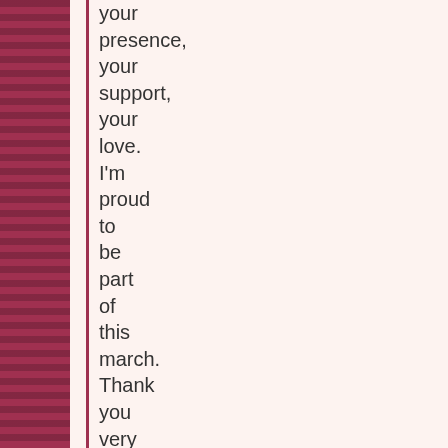your presence, your support, your love. I'm proud to be part of this march. Thank you very much!
Here's the news article about the march from Portland Observer. "Like" BRING Ivanice HOME page on facebook to receive updates about the case!
PermaLink :: Comments (0) :: sex trade, violence